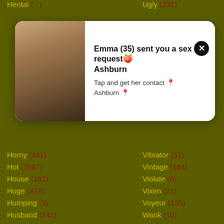Hentai (...)
Ugly (231)
[Figure (photo): Popup notification with photo of a woman, text: Emma (35) sent you a sex request Ashburn. Tap and get her contact Ashburn.]
Horny (441)
Vibrator (51)
Hot (2887)
Vintage (184)
House (182)
Violate (6)
Huge (428)
Vixen (21)
Humping (3)
Voyeur (135)
Husband (345)
Wank (10)
Indian (508)
Watching (86)
Indonesian (18)
Webcam (325)
Insertion (6)
Wedding (14)
Inside (75)
Wet (149)
Internal (7)
White (312)
Interracial (667)
Whore (131)
Interview (41)
Wife (...)